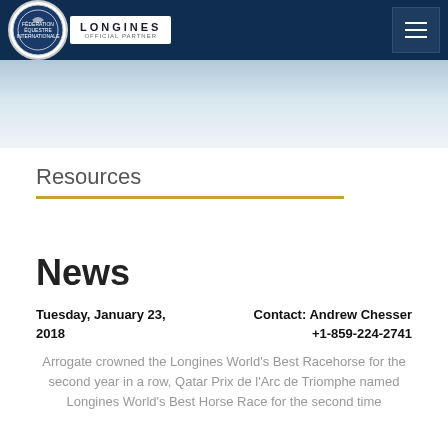LONGINES OFFICIAL PARTNER — navigation header
[Figure (illustration): Light blue-grey gradient banner area]
Resources
News
Tuesday, January 23, 2018
Contact: Andrew Chesser
+1-859-224-2741
Arrogate crowned the Longines World's Best Racehorse for the second year in a row, Qatar Prix de l'Arc de Triomphe named Longines World's Best Horse Race for the second time